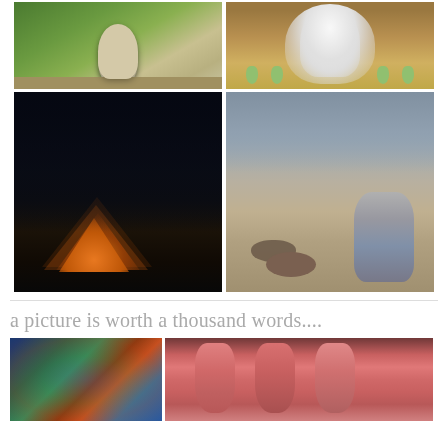[Figure (photo): Garden with hedges and a stone urn/statue]
[Figure (photo): Ornate white chandelier with lamp shades]
[Figure (photo): Glowing orange tent at night in dark forest]
[Figure (photo): Woman crouching on a beach near a seal, rocky shoreline]
a picture is worth a thousand words....
[Figure (photo): Colorful stained glass ceiling of a pavilion]
[Figure (photo): Pink/red objects hanging in a row]